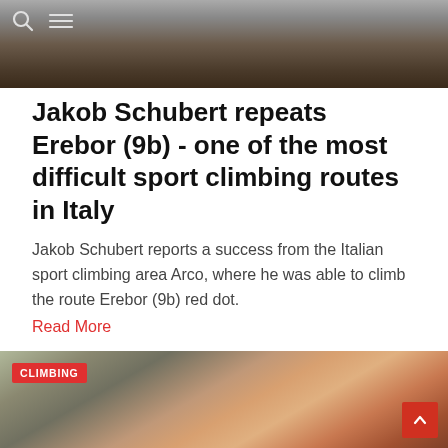[Figure (photo): Partial photo at top showing a person's face/chin area with dark background, with search and hamburger menu icons visible in top-left corner]
Jakob Schubert repeats Erebor (9b) - one of the most difficult sport climbing routes in Italy
Jakob Schubert reports a success from the Italian sport climbing area Arco, where he was able to climb the route Erebor (9b) red dot.
Read More
[Figure (photo): Photo of a rock climber (man in red shirt) climbing an overhanging rock face, with climbing gear and quickdraws visible, with a red CLIMBING badge overlay in the top-left corner]